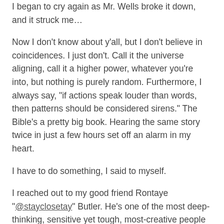I began to cry again as Mr. Wells broke it down, and it struck me…
Now I don't know about y'all, but I don't believe in coincidences. I just don't. Call it the universe aligning, call it a higher power, whatever you're into, but nothing is purely random. Furthermore, I always say, "if actions speak louder than words, then patterns should be considered sirens." The Bible's a pretty big book. Hearing the same story twice in just a few hours set off an alarm in my heart.
I have to do something, I said to myself.
I reached out to my good friend Rontaye "@stayclosetay" Butler. He's one of the most deep-thinking, sensitive yet tough, most-creative people I've ever met in my life. He's also a black man that has dedicated his life to creating stories about Black culture.